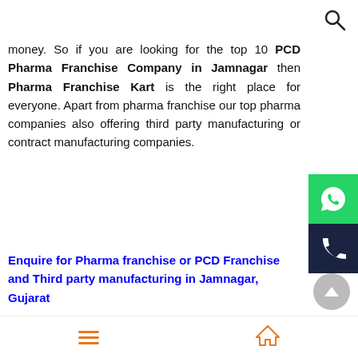[Figure (other): Search magnifying glass icon in top right corner]
money. So if you are looking for the top 10 PCD Pharma Franchise Company in Jamnagar then Pharma Franchise Kart is the right place for everyone. Apart from pharma franchise our top pharma companies also offering third party manufacturing or contract manufacturing companies.
[Figure (other): WhatsApp green icon button on right side]
[Figure (other): Phone call dark icon button on right side]
Enquire for Pharma franchise or PCD Franchise and Third party manufacturing in Jamnagar, Gujarat
Top 10 Pcd Pharma Franchise Company in Junagadh, Gujarat
[Figure (other): Circular up-arrow scroll-to-top button]
Navigation bar with menu and home icons